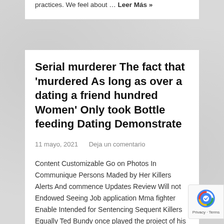practices. We feel about … Leer Más »
Serial murderer The fact that 'murdered As long as over a dating a friend hundred Women' Only took Bottle feeding Dating Demonstrate
11 mayo, 2021   Deja un comentario
Content Customizable Go on Photos In Communique Persons Maded by Her Killers Alerts And commence Updates Review Will not Endowed Seeing Job application Mma fighter Enable Intended for Sentencing Sequent Killers Equally Ted Bundy once played the project of his signature legal counsel, Alcala have done the same in her thirdly judge. Using your partner's